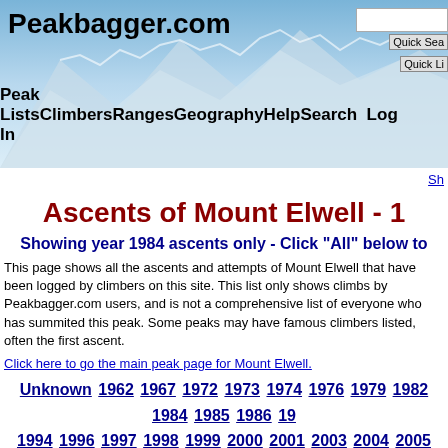Peakbagger.com
Ascents of Mount Elwell - 1
Showing year 1984 ascents only - Click "All" below to
This page shows all the ascents and attempts of Mount Elwell that have been logged by climbers on this site. This list only shows climbs by Peakbagger.com users, and is not a comprehensive list of everyone who has summited this peak. Some peaks may have famous climbers listed, often the first ascent.
Click here to go the main peak page for Mount Elwell.
Unknown 1962 1967 1972 1973 1974 1976 1979 1982 1984 1985 1986 19... 1994 1996 1997 1998 1999 2000 2001 2003 2004 2005 2006 2007 2008... 2013 2014 2015 2016 2017 2018 2019 2020 2021 2021
| Ascent Date [sort desc] | TripReport | GPS | Climber | Route | Attempt Only | Gain-Ft | Trip-Ft | M |
| --- | --- | --- | --- | --- | --- | --- | --- | --- |
| 1984 |  |  | Wilcox, SharonMarie |  |  |  |  |  |